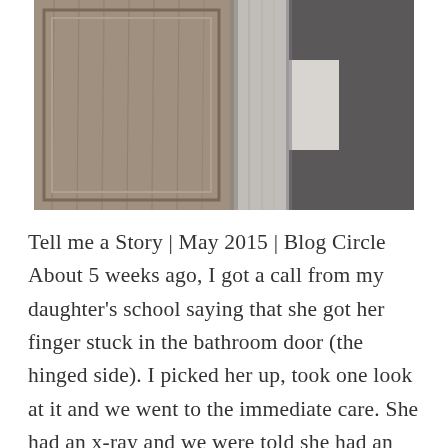[Figure (photo): Black and white photograph showing a wooden cabinet door with raised panel detail, a towel hanging nearby, and what appears to be fabric or clothing items in the background.]
Tell me a Story | May 2015 | Blog Circle About 5 weeks ago, I got a call from my daughter's school saying that she got her finger stuck in the bathroom door (the hinged side). I picked her up, took one look at it and we went to the immediate care. She had an x-ray and we were told she had an avulsion fracture and would need a splint for at least 8 weeks. Every evening, we take the bandage off, wa...